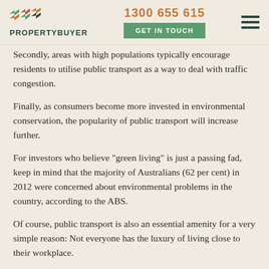PROPERTYBUYER | 1300 655 615 | GET IN TOUCH
Secondly, areas with high populations typically encourage residents to utilise public transport as a way to deal with traffic congestion.
Finally, as consumers become more invested in environmental conservation, the popularity of public transport will increase further.
For investors who believe "green living" is just a passing fad, keep in mind that the majority of Australians (62 per cent) in 2012 were concerned about environmental problems in the country, according to the ABS.
Of course, public transport is also an essential amenity for a very simple reason: Not everyone has the luxury of living close to their workplace.
Commuting to work each day can be costly, time-consuming and stressful, especially if a place of employment is significantly far from a residence. Difficult finding and